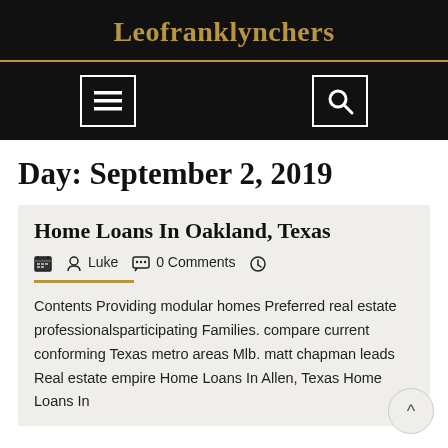Leofranklynchers
Day: September 2, 2019
Home Loans In Oakland, Texas
Luke  0 Comments
Contents Providing modular homes Preferred real estate professionalsparticipating Families. compare current conforming Texas metro areas Mlb. matt chapman leads Real estate empire Home Loans In Allen, Texas Home Loans In